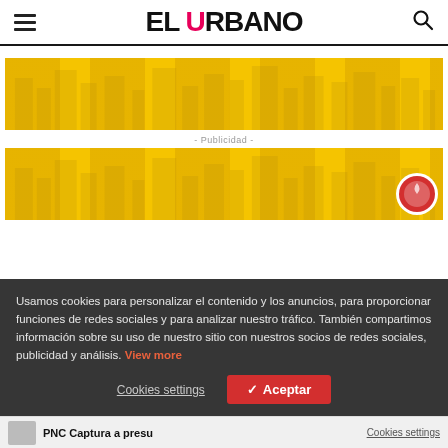EL URBANO
[Figure (illustration): Yellow advertisement banner with faint city/building motifs in darker gold tones]
- Publicidad -
[Figure (illustration): Yellow advertisement banner with faint city/building motifs and a red circular badge logo on the right]
Usamos cookies para personalizar el contenido y los anuncios, para proporcionar funciones de redes sociales y para analizar nuestro tráfico. También compartimos información sobre su uso de nuestro sitio con nuestros socios de redes sociales, publicidad y análisis. View more
Cookies settings   ✓ Aceptar
PNC Captura a presu   Cookies settings